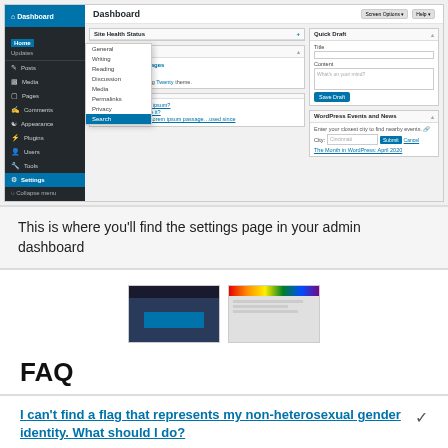[Figure (screenshot): WordPress admin dashboard screenshot showing the Settings menu expanded with items: General, Writing, Reading, Discussion, Media, Permalinks, Privacy, Search (highlighted). The main area shows Site Health Status, At a Glance (1 Posts, 14 Pages, 1 Comments), WordPress 5.4.7 running Twenty theme, blog posts list, Quick Draft panel, and WordPress Events and News panel.]
This is where you'll find the settings page in your admin dashboard
[Figure (screenshot): Two small thumbnail screenshots of WordPress admin pages]
FAQ
I can't find a flag that represents my non-heterosexual gender identity. What should I do?